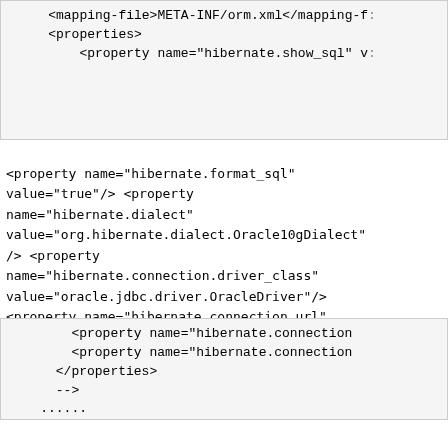[Figure (screenshot): Code box showing partial XML with mapping-file and properties tags including hibernate.show_sql property]
<property name="hibernate.format_sql" value="true"/> <property name="hibernate.dialect" value="org.hibernate.dialect.Oracle10gDialect" /> <property name="hibernate.connection.driver_class" value="oracle.jdbc.driver.OracleDriver"/> <property name="hibernate.connection.url" value="jdbc:oracle:thin:@localhost:1521:xe"/>
[Figure (screenshot): Code box showing hibernate.connection properties, </properties>, -->, and ellipsis lines]
Internal Exception: Exception [EclipseLink-...